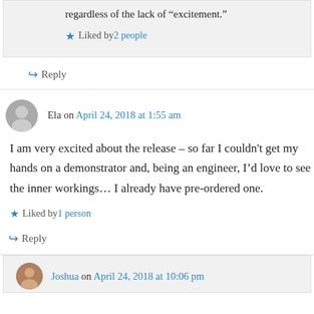regardless of the lack of “excitement.”
Liked by 2 people
Reply
Ela on April 24, 2018 at 1:55 am
I am very excited about the release – so far I couldn't get my hands on a demonstrator and, being an engineer, I’d love to see the inner workings… I already have pre-ordered one.
Liked by 1 person
Reply
Joshua on April 24, 2018 at 10:06 pm